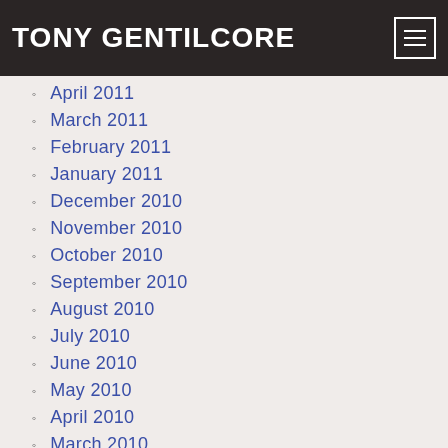TONY GENTILCORE
April 2011
March 2011
February 2011
January 2011
December 2010
November 2010
October 2010
September 2010
August 2010
July 2010
June 2010
May 2010
April 2010
March 2010
February 2010
January 2010
December 2009
November 2009
October 2009
September 2009